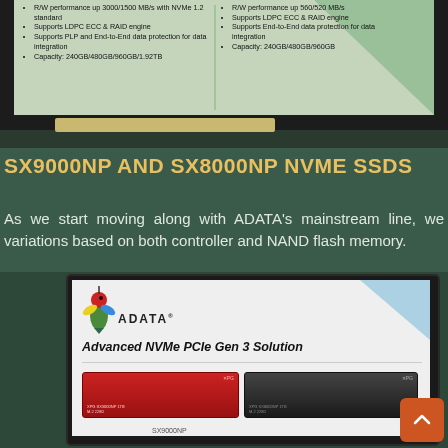[Figure (photo): Photo of a monitor/display showing two-column spec list for ADATA SSDs. Left column: R/W performance up 3000/1500 MB/s with NVMe 1.2 standard; Supports LDPC ECC & RAID engine; Supports PLP and End-to-End data protection for data integration; Capacity: 240GB/480GB/960GB/1.92TB. Right column: R/W performance up 560/520 MB/s; Supports LDPC ECC & RAID engine; Supports End-to-End data protection for data integration; Capacity: 240GB/480GB/960GB.]
SX9000NP AND SX8000NP NVME SSDS
As we start moving along with ADATA's mainstream line, we variations based on both controller and NAND flash memory.
[Figure (photo): Photo of a monitor showing ADATA Advanced NVMe PCIe Gen 3 Solution with ADATA logo (hummingbird), and images of two SSD drives: a red SSD and a black SSD (XPG branded). Caption at bottom: SX9000NP]